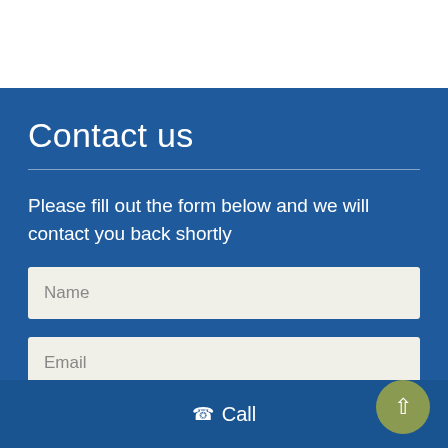Contact us
Please fill out the form below and we will contact you back shortly
Name
Email
Call